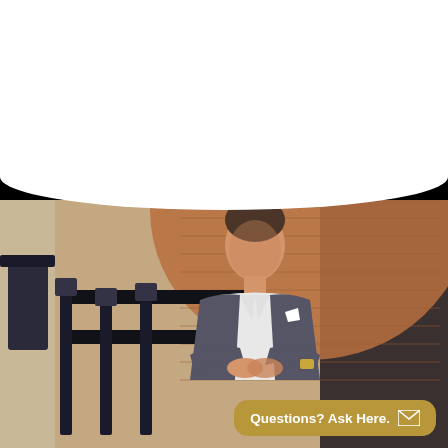Internationally recognised influencers and leading marketing experts share their exclusive insights and easy step by step tips that you won't find anywhere else.
[Figure (photo): A well-dressed man in a dark blazer and white shirt leaning on black stair railings, with a brick arch background in an interior setting.]
Questions? Ask Here.